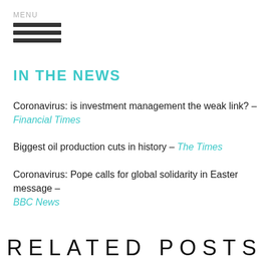MENU
IN THE NEWS
Coronavirus: is investment management the weak link? – Financial Times
Biggest oil production cuts in history – The Times
Coronavirus: Pope calls for global solidarity in Easter message – BBC News
RELATED POSTS